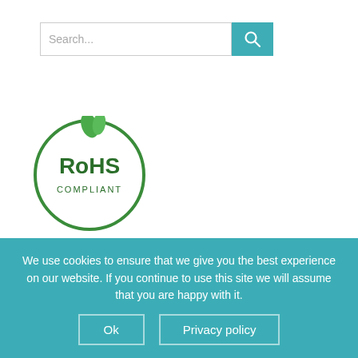[Figure (other): Search bar with text input and teal search button with magnifying glass icon]
[Figure (logo): RoHS Compliant logo — green circular logo with leaf design and text 'RoHS COMPLIANT']
[Figure (logo): ORI ISO 9001:2015 Certified logo — green shield with 'ORI' text, star above, silver orbital ring, with text 'ISO 9001:2015 CERTIFIED' below]
We use cookies to ensure that we give you the best experience on our website. If you continue to use this site we will assume that you are happy with it.
Ok   Privacy policy